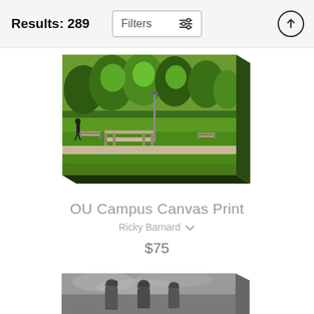Results: 289
Filters
[Figure (photo): Canvas print of OU campus park scene with benches, green trees, grass and a person walking, displayed as a wrapped canvas with 3D side effect]
OU Campus Canvas Print
Ricky Barnard
$75
[Figure (photo): Partially visible black and white canvas print showing what appears to be football players or mascots, displayed as a wrapped canvas with 3D side effect, cropped at bottom of page]